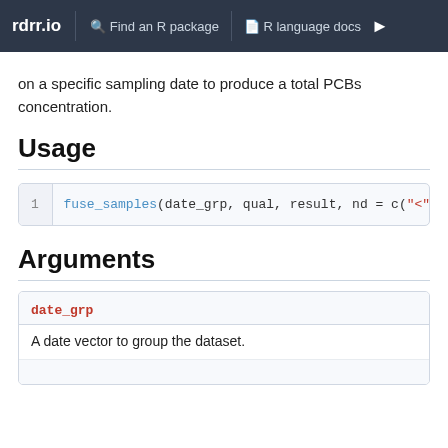rdrr.io   Find an R package   R language docs
on a specific sampling date to produce a total PCBs concentration.
Usage
[Figure (screenshot): Code block showing: 1  fuse_samples(date_grp, qual, result, nd = c("<",]
Arguments
| date_grp | A date vector to group the dataset. |
|  |  |